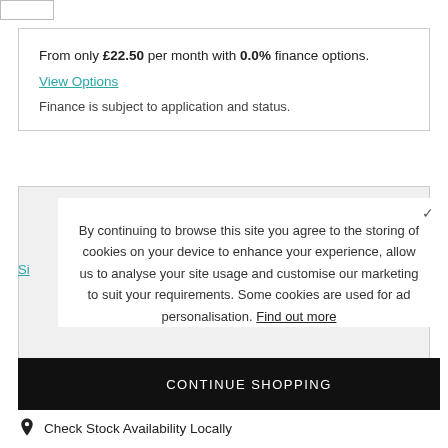From only £22.50 per month with 0.0% finance options.
View Options
Finance is subject to application and status.
By continuing to browse this site you agree to the storing of cookies on your device to enhance your experience, allow us to analyse your site usage and customise our marketing to suit your requirements. Some cookies are used for ad personalisation. Find out more
CONTINUE SHOPPING
Check Stock Availability Locally